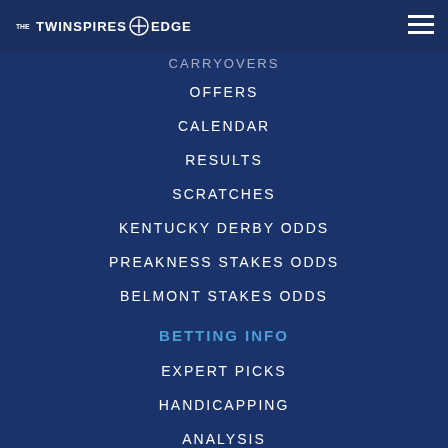THE TWINSPIRES EDGE
CARRYOVERS
OFFERS
CALENDAR
RESULTS
SCRATCHES
KENTUCKY DERBY ODDS
PREAKNESS STAKES ODDS
BELMONT STAKES ODDS
BETTING INFO
EXPERT PICKS
HANDICAPPING
ANALYSIS
HOW TO BET
PODCAST